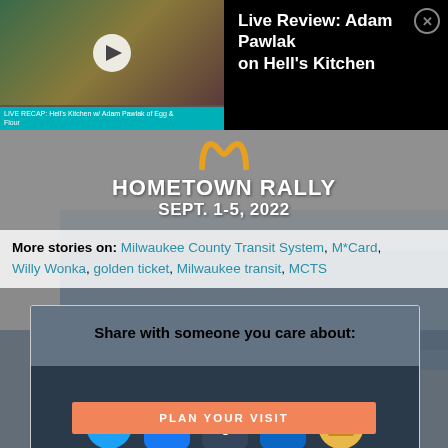[Figure (screenshot): Video thumbnail showing two people with a play button overlay and teal caption bar reading 'LIVE RECAP: Hell's Kitchen w/ Adam Pawlak of Egg & Flour']
Live Review: Adam Pawlak on Hell's Kitchen
[Figure (infographic): Hometown Rally banner with McDonald's golden arches logo, text 'HOMETOWN RALLY SEPT. 1-5, 2022' overlaid on a gray background]
More stories on: Milwaukee County Transit System, M*Card, Willy Wonka, golden ticket, Milwaukee transit, MCTS
[Figure (screenshot): Share with someone you care about section showing social media icons: Twitter, Facebook, Tumblr, LinkedIn, Email over a dark motorcycle rally background image]
PLAN YOUR VISIT